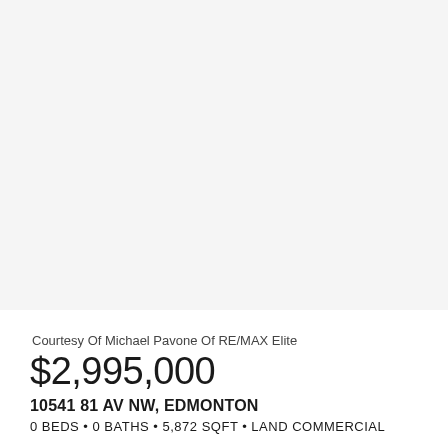[Figure (photo): Property photo placeholder — blank/white image area for 10541 81 AV NW, Edmonton]
Courtesy Of Michael Pavone Of RE/MAX Elite
$2,995,000
10541 81 AV NW, EDMONTON
0 BEDS • 0 BATHS • 5,872 SQFT • LAND COMMERCIAL